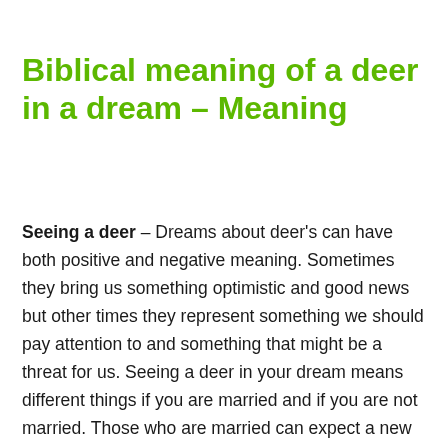Biblical meaning of a deer in a dream – Meaning
Seeing a deer – Dreams about deer's can have both positive and negative meaning. Sometimes they bring us something optimistic and good news but other times they represent something we should pay attention to and something that might be a threat for us. Seeing a deer in your dream means different things if you are married and if you are not married. Those who are married can expect a new addition to the family and those